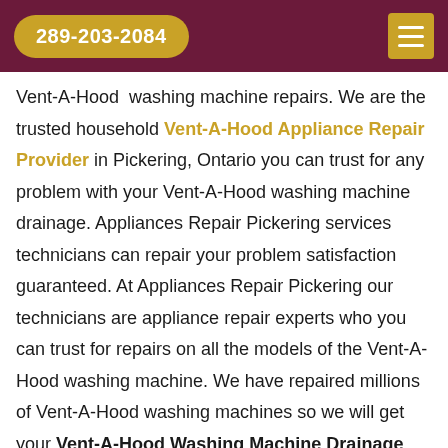289-203-2084
Vent-A-Hood washing machine repairs. We are the trusted household Vent-A-Hood Appliance Repair Provider in Pickering, Ontario you can trust for any problem with your Vent-A-Hood washing machine drainage. Appliances Repair Pickering services technicians can repair your problem satisfaction guaranteed. At Appliances Repair Pickering our technicians are appliance repair experts who you can trust for repairs on all the models of the Vent-A-Hood washing machine. We have repaired millions of Vent-A-Hood washing machines so we will get your Vent-A-Hood Washing Machine Drainage Repair quickly.